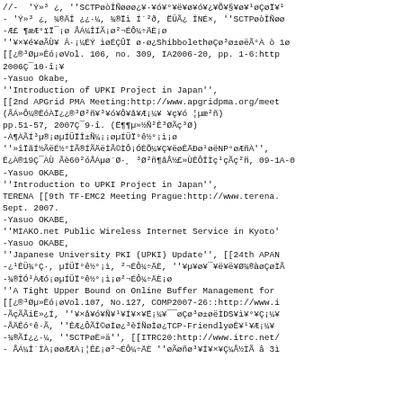//-  'Ý»³ ¿, ''SCTPøòÎÑøøø¿¥·¥ó¥°¥ë¥ø¥ó¥¿¥Õ¥§¥ø¥¹øÇøÏ¥¹
- 'Ý»³ ¿, ¾®ÄÎ ¿¿·¼, ¾®Ïì Í´²ð, ËÜÃ¿ ÎNÉ×, ''SCTPøòÎÑøø
-Æ£ ¶æÆ°ïÏ¯¡ø ÅÁ¼ÎÍÃ¡ø²¬ÉÔ¼÷ÄÈ¡ø
''¥×¥é¥øÃÙ¥ Â·¡¼ÉÝ ìøÉÇÛÏ ø·ø¿ShibbolethøÇø³ø±øëÃ°À ò 1ø
[[¿®³Øµ»Êó¡øVol. 106, no. 309, IA2006-20, pp. 1-6:http
2006Ç¯10·î¡¥
-Yasuo Okabe,
''Introduction of UPKI Project in Japan'',
[[2nd APGrid PMA Meeting:http://www.apgridpma.org/meet
(ÅÁ»Ô¼®ÊóÀÏ¿¿®³Ø²ñ¥³¥ó¥Ô¥å¥Æ¡¼¥ ¥ç¥ó ¦µæ²ñ)
pp.51-57, 2007Ç¯9·î. (Ë¶¶µ»½Ñ²Ê³ØÃç³Ø)
-À¶ÀÃÍ³µ®¡øµÍÜÏÎ±Ñ¼¡¡øµÍÜÏ°ê½°¡ì¡ø
''»îÏãÍ½ÃëÉ½°ÌÃ®ÍÃÄëÌÃ©ÌÔ¡ÓÈÕ¼¥Ç¥ëøÊÄÐø¹øëNP°øÆñÀ'',
Ê¿À®19Ç¯ÀÙ Ãè60²óÅÁµø´Ø·¸ ³Ø²ñ¶åÅ½£»ÙÊÔÎÌç¹çÃç²ñ, 09-1A-0
-Yasuo OKABE,
''Introduction to UPKI Project in Japan'',
TERENA [[9th TF-EMC2 Meeting Prague:http://www.terena.
Sept. 2007.
-Yasuo OKABE,
''MIAKO.net Public Wireless Internet Service in Kyoto'
-Yasuo OKABE,
''Japanese University PKI (UPKI) Update'', [[24th APAN
-¿¹ÊÜ¾°Ç·, µÍÜÏ°ê½°¡ì, ²¬ÉÔ¼÷ÄÈ, ''¥µ¥ø¥¯¥ë¥ë¥Ø¾®àøÇøÌÃ
-¾®ÎÓ¹ÀÆó¡øµÍÜÏ°ê½°¡ì¡ø²¬ÉÔ¼÷ÄÈ¡ø
''A Tight Upper Bound on Online Buffer Management for
[[¿®³Øµ»Êó¡øVol.107, No.127, COMP2007-26::http://www.i
-ÃçÃÃiÈ»¿Í, ''¥×å¥ó¥Ñ¥¹¥Í¥×¥Ë¡¼¥¯¯øÇø³ø±øëÌDS¥ì¥°¥Ç¡¼¥
-ÅÄÊó°ê·Ã, ''ÊÆ¿ÔÃÎ©øÌø¿³èÍÑøÌø¿TCP-FriendlyøÊ¥¹¥Æ¡¼¥
-¾®ÃÍ¿¿·¼, ''SCTPøÈ»ä'', [[ITRC20:http://www.itrc.net/
- ÅÁ¼Î´ÌÀ¡øøÆÆÀ¡¦Ê£¡ø²¬ÉÔ¼÷ÄÈ ''øÃøñø³¥Í¥×¥Ç¼Å½ÌÃ â 3ì